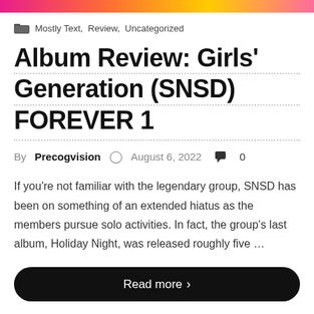[Figure (illustration): Colorful top banner strip with pink, orange, yellow, and pink gradient colors]
Mostly Text, Review, Uncategorized
Album Review: Girls' Generation (SNSD) FOREVER 1
By Precogvision  August 6, 2022  0
If you're not familiar with the legendary group, SNSD has been on something of an extended hiatus as the members pursue solo activities. In fact, the group's last album, Holiday Night, was released roughly five …
Read more >